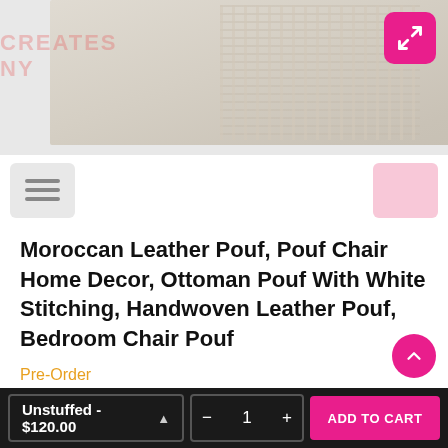[Figure (photo): Macrame/handwoven leather pouf product photo on white rustic wood background]
Moroccan Leather Pouf, Pouf Chair Home Decor, Ottoman Pouf With White Stitching, Handwoven Leather Pouf, Bedroom Chair Pouf
Pre-Order
$120.00
Tax included. Shipping calculated at checkout.
STYLE: UNSTUFFED
Unstuffed - $120.00  —  1  +   ADD TO CART